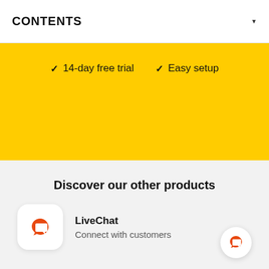CONTENTS
✓ 14-day free trial  ✓ Easy setup
Discover our other products
LiveChat – Connect with customers